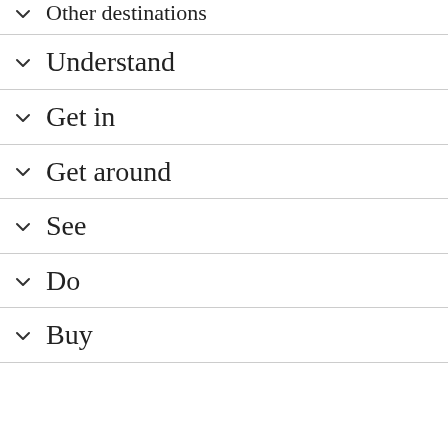Other destinations
Understand
Get in
Get around
See
Do
Buy